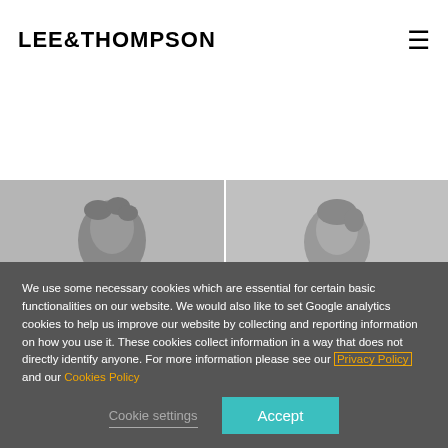LEE&THOMPSON
Profile
[Figure (photo): Black and white photo of a person, left side]
[Figure (photo): Black and white photo of a person, right side]
We use some necessary cookies which are essential for certain basic functionalities on our website. We would also like to set Google analytics cookies to help us improve our website by collecting and reporting information on how you use it. These cookies collect information in a way that does not directly identify anyone. For more information please see our Privacy Policy and our Cookies Policy
Cookie settings
Accept